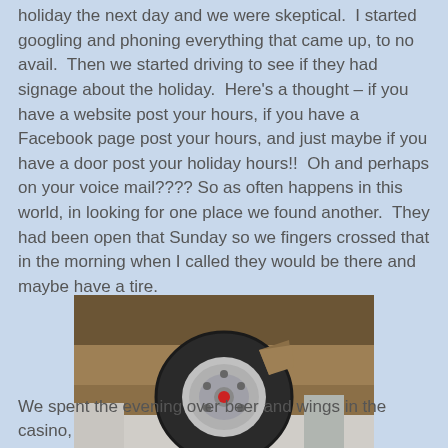holiday the next day and we were skeptical.  I started googling and phoning everything that came up, to no avail.  Then we started driving to see if they had signage about the holiday.  Here's a thought – if you have a website post your hours, if you have a Facebook page post your hours, and just maybe if you have a door post your holiday hours!!  Oh and perhaps on your voice mail???? So as often happens in this world, in looking for one place we found another.  They had been open that Sunday so we fingers crossed that in the morning when I called they would be there and maybe have a tire.
[Figure (photo): A damaged car tire with a large chunk missing from the tread, sitting on what appears to be a white surface or shelf, with a rocky or earthen background.]
We spent the evening over beer and wings in the casino,